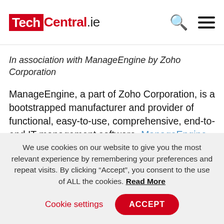TechCentral.ie
In association with ManageEngine by Zoho Corporation
ManageEngine, a part of Zoho Corporation, is a bootstrapped manufacturer and provider of functional, easy-to-use, comprehensive, end-to-end IT management software. ManageEngine IT operations management (ITOM) solutions aim at helping IT admins and networking teams hold IT together and
We use cookies on our website to give you the most relevant experience by remembering your preferences and repeat visits. By clicking “Accept”, you consent to the use of ALL the cookies. Read More
Cookie settings  ACCEPT